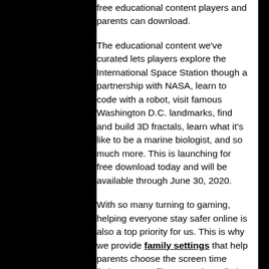free educational content players and parents can download.
The educational content we've curated lets players explore the International Space Station though a partnership with NASA, learn to code with a robot, visit famous Washington D.C. landmarks, find and build 3D fractals, learn what it's like to be a marine biologist, and so much more. This is launching for free download today and will be available through June 30, 2020.
With so many turning to gaming, helping everyone stay safer online is also a top priority for us. This is why we provide family settings that help parents choose the screen time limits, content filters, purchase limits, communication and sharing settings that are right for their families. While kids may be home from school, family settings can help